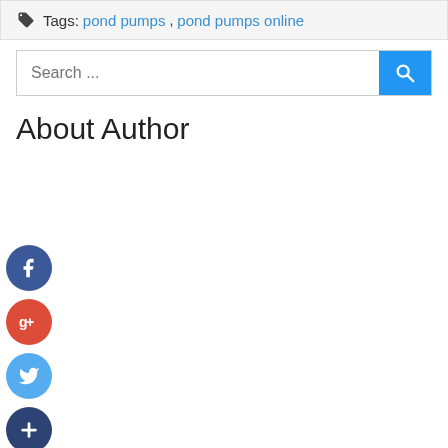Tags: pond pumps, pond pumps online
Search ...
About Author
[Figure (other): Social media icons: Facebook (blue circle with f), Google+ (red circle with g+), Twitter (light blue circle with bird), and a dark blue circle with plus sign]
[Figure (other): Facebook social icon - dark blue circle with white f]
[Figure (other): Google+ social icon - red circle with white g+]
[Figure (other): Twitter social icon - light blue circle with white bird]
[Figure (other): More/Add social icon - dark blue circle with white plus sign]